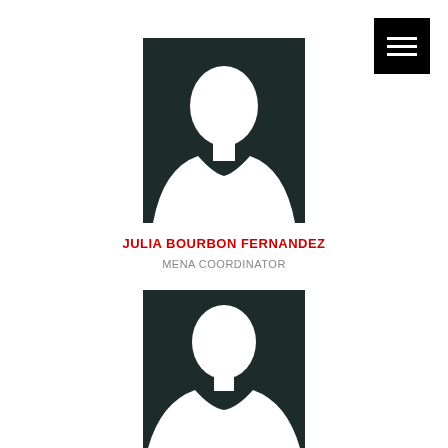[Figure (illustration): Placeholder silhouette of a person (female) with dark background, top image]
JULIA BOURBON FERNANDEZ
MENA COORDINATOR
[Figure (illustration): Placeholder silhouette of a person (female) with dark background, bottom image]